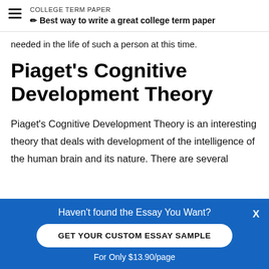COLLEGE TERM PAPER — ✏ Best way to write a great college term paper
needed in the life of such a person at this time.
Piaget's Cognitive Development Theory
Piaget's Cognitive Development Theory is an interesting theory that deals with development of the intelligence of the human brain and its nature. There are several
Haven't found the Essay You Want?
GET YOUR CUSTOM ESSAY SAMPLE
For Only $13.90/page